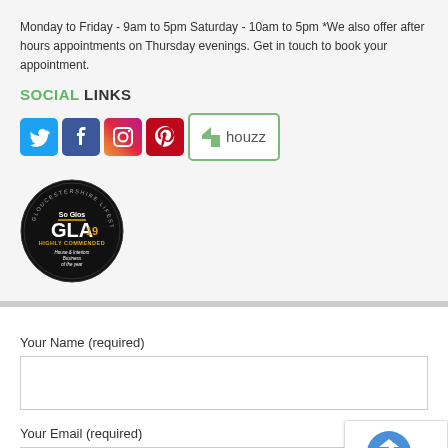Monday to Friday - 9am to 5pm Saturday - 10am to 5pm *We also offer after hours appointments on Thursday evenings. Get in touch to book your appointment.
SOCIAL LINKS
[Figure (illustration): Social media icons: Twitter (blue bird), Facebook (blue f), Instagram (gradient camera), Pinterest (red P), and Houzz (green logo with text)]
[Figure (logo): So Glos Gloucestershire Lifestyle Awards 2019 round badge - GLA 19 Highly Commended - House & Interiors Business of the year]
Your Name (required)
Your Email (required)